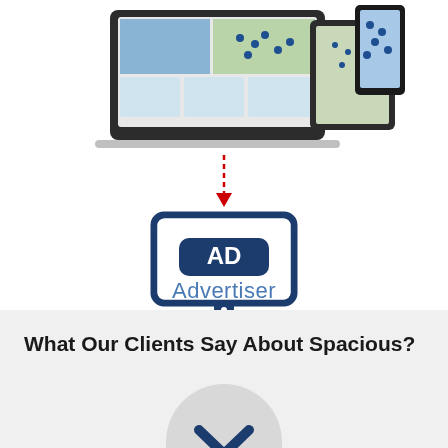[Figure (illustration): Laptop and mobile device showing a real estate website with map and property listings]
[Figure (illustration): Red dashed downward arrow connecting the devices to the advertiser monitor icon]
[Figure (illustration): Dark navy blue desktop monitor icon displaying an AD badge/label, representing an Advertiser]
Advertiser
What Our Clients Say About Spacious?
[Figure (illustration): Partial circular avatar/profile image with a dark navy chevron/down-arrow icon in the center, partially cropped at bottom]